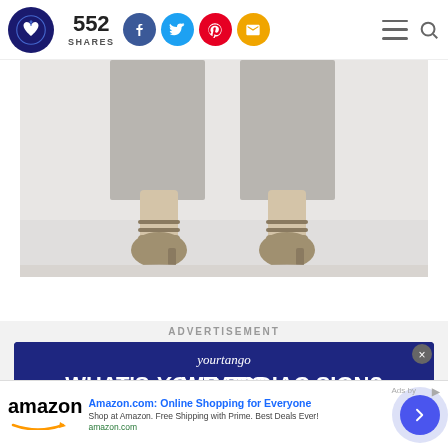552 SHARES — social share buttons, logo, hamburger menu, search
[Figure (photo): Lower half of a person wearing a silver/grey midi skirt and strappy heeled sandals, standing against a light background]
ADVERTISEMENT
[Figure (infographic): YourTango advertisement: WHAT'S YOUR ZODIAC SIGN? showing zodiac symbols including Capricorn, Virgo, Taurus, Scorpio, Sagittarius, Pisces]
[Figure (infographic): Amazon advertisement: Amazon.com: Online Shopping for Everyone. Shop at Amazon. Free Shipping with Prime. Best Deals Ever! amazon.com]